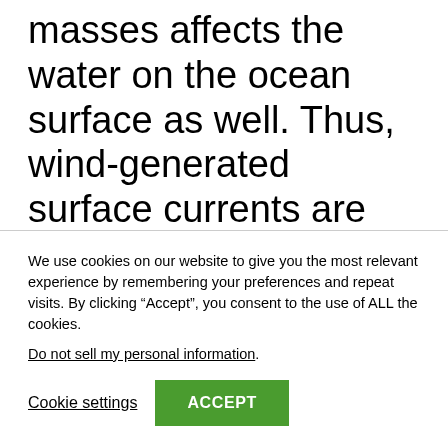masses affects the water on the ocean surface as well. Thus, wind-generated surface currents are born. These currents are parallel with the
We use cookies on our website to give you the most relevant experience by remembering your preferences and repeat visits. By clicking “Accept”, you consent to the use of ALL the cookies.
Do not sell my personal information.
Cookie settings
ACCEPT